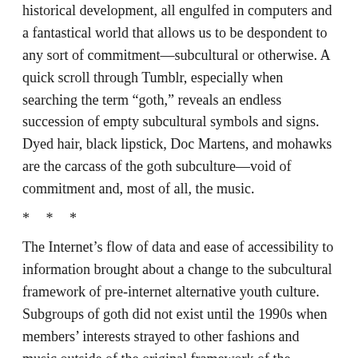historical development, all engulfed in computers and a fantastical world that allows us to be despondent to any sort of commitment—subcultural or otherwise. A quick scroll through Tumblr, especially when searching the term “goth,” reveals an endless succession of empty subcultural symbols and signs.  Dyed hair, black lipstick, Doc Martens, and mohawks are the carcass of the goth subculture—void of commitment and, most of all, the music.
* * *
The Internet’s flow of data and ease of accessibility to information brought about a change to the subcultural framework of pre-internet alternative youth culture.  Subgroups of goth did not exist until the 1990s when members’ interests strayed to other fashions and music outside of the original framework of the subculture in conjunction to the new territories that the Internet provided.  The creation of these subgroups appropriate basic elements of goth, especially the use of black.  One such example is the emergence of the Internet sensation “health goth,” a fashion trend that does